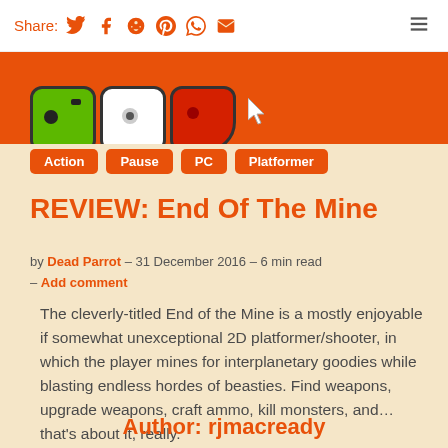Share:
[Figure (illustration): Orange banner with game icon tiles (green, white, red) and a cursor arrow]
Action
Pause
PC
Platformer
REVIEW: End Of The Mine
by Dead Parrot – 31 December 2016 – 6 min read – Add comment
The cleverly-titled End of the Mine is a mostly enjoyable if somewhat unexceptional 2D platformer/shooter, in which the player mines for interplanetary goodies while blasting endless hordes of beasties. Find weapons, upgrade weapons, craft ammo, kill monsters, and…that's about it, really.
Author: rjmacready